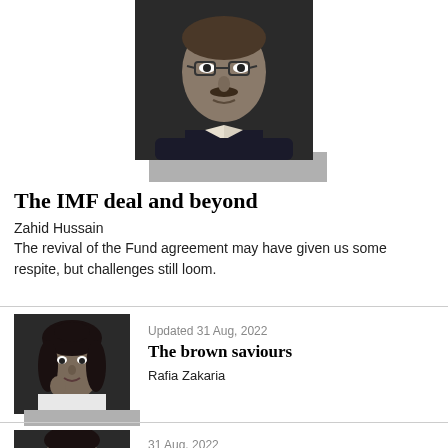[Figure (photo): Black and white portrait photo of a middle-aged man with glasses and a mustache, wearing a suit]
The IMF deal and beyond
Zahid Hussain
The revival of the Fund agreement may have given us some respite, but challenges still loom.
[Figure (photo): Black and white photo of a woman]
Updated 31 Aug, 2022
The brown saviours
Rafia Zakaria
[Figure (photo): Black and white photo of a person]
31 Aug, 2022
Civilian supremacy